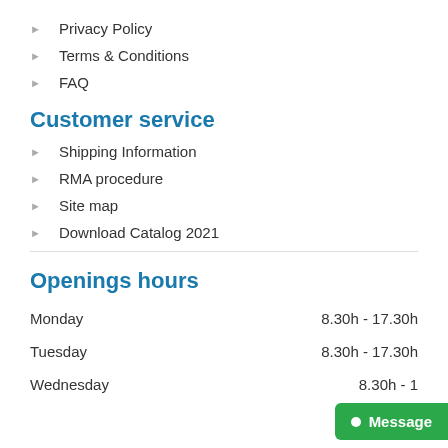Privacy Policy
Terms & Conditions
FAQ
Customer service
Shipping Information
RMA procedure
Site map
Download Catalog 2021
Openings hours
| Day | Hours |
| --- | --- |
| Monday | 8.30h - 17.30h |
| Tuesday | 8.30h - 17.30h |
| Wednesday | 8.30h - 1... |